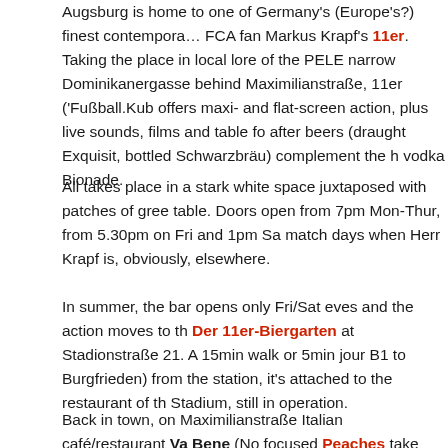Augsburg is home to one of Germany's (Europe's?) finest contempora… FCA fan Markus Krapf's 11er. Taking the place in local lore of the PELE narrow Dominikanergasse behind Maximilianstraße, 11er ('Fußball.Kub offers maxi- and flat-screen action, plus live sounds, films and table fo after beers (draught Exquisit, bottled Schwarzbräu) complement the h vodka Bionade.
All takes place in a stark white space juxtaposed with patches of gree table. Doors open from 7pm Mon-Thur, from 5.30pm on Fri and 1pm Sa match days when Herr Krapf is, obviously, elsewhere.
In summer, the bar opens only Fri/Sat eves and the action moves to th Der 11er-Biergarten at Stadionstraße 21. A 15min walk or 5min jour B1 to Burgfrieden) from the station, it's attached to the restaurant of th Stadium, still in operation.
Back in town, on Maximilianstraße Italian café/restaurant Va Bene (No focused Peaches take their sports seriously. Round the corner, the R shake a thing or two.